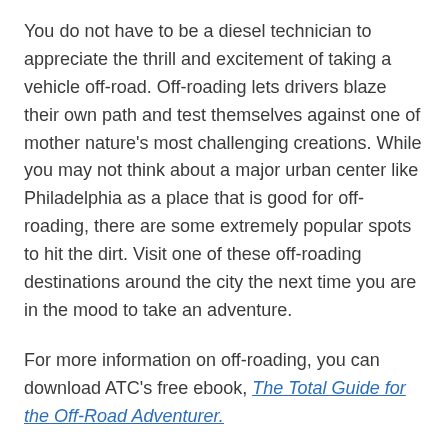You do not have to be a diesel technician to appreciate the thrill and excitement of taking a vehicle off-road. Off-roading lets drivers blaze their own path and test themselves against one of mother nature's most challenging creations. While you may not think about a major urban center like Philadelphia as a place that is good for off-roading, there are some extremely popular spots to hit the dirt. Visit one of these off-roading destinations around the city the next time you are in the mood to take an adventure.
For more information on off-roading, you can download ATC's free ebook, The Total Guide for the Off-Road Adventurer.